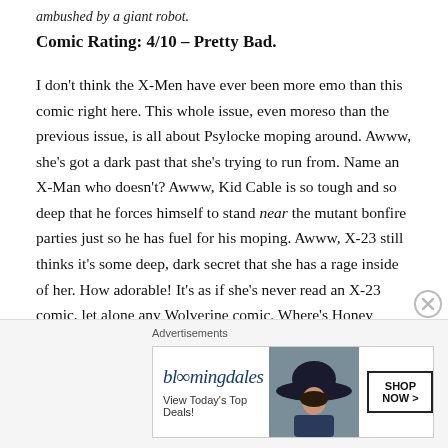ambushed by a giant robot.
Comic Rating: 4/10 – Pretty Bad.
I don't think the X-Men have ever been more emo than this comic right here. This whole issue, even moreso than the previous issue, is all about Psylocke moping around. Awww, she's got a dark past that she's trying to run from. Name an X-Man who doesn't? Awww, Kid Cable is so tough and so deep that he forces himself to stand near the mutant bonfire parties just so he has fuel for his moping. Awww, X-23 still thinks it's some deep, dark secret that she has a rage inside of her. How adorable! It's as if she's never read an X-23 comic, let alone any Wolverine comic. Where's Honey Badger when you need her?
Advertisements
[Figure (other): Bloomingdale's advertisement banner with logo, 'View Today's Top Deals!' text, woman with hat image, and 'SHOP NOW >' button]